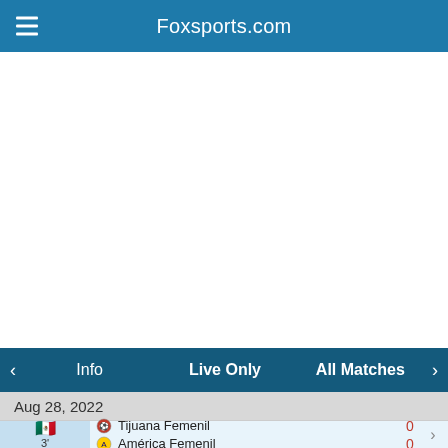Foxsports.com
[Figure (screenshot): White blank content area]
Info   Live Only   All Matches
Aug 28, 2022
| Flag/Time | Team | Score |
| --- | --- | --- |
| 🇲🇽 3' | Tijuana Femenil | 0 |
|  | América Femenil | 0 |